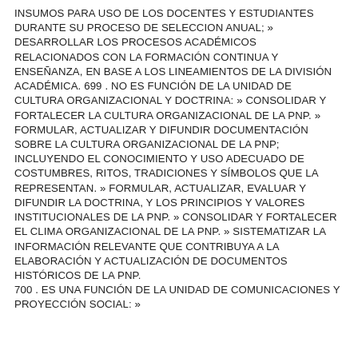INSUMOS PARA USO DE LOS DOCENTES Y ESTUDIANTES DURANTE SU PROCESO DE SELECCION ANUAL; » DESARROLLAR LOS PROCESOS ACADÉMICOS RELACIONADOS CON LA FORMACIÓN CONTINUA Y ENSEÑANZA, EN BASE A LOS LINEAMIENTOS DE LA DIVISIÓN ACADÉMICA. 699 . NO ES FUNCIÓN DE LA UNIDAD DE CULTURA ORGANIZACIONAL Y DOCTRINA: » CONSOLIDAR Y FORTALECER LA CULTURA ORGANIZACIONAL DE LA PNP. » FORMULAR, ACTUALIZAR Y DIFUNDIR DOCUMENTACIÓN SOBRE LA CULTURA ORGANIZACIONAL DE LA PNP; INCLUYENDO EL CONOCIMIENTO Y USO ADECUADO DE COSTUMBRES, RITOS, TRADICIONES Y SÍMBOLOS QUE LA REPRESENTAN. » FORMULAR, ACTUALIZAR, EVALUAR Y DIFUNDIR LA DOCTRINA, Y LOS PRINCIPIOS Y VALORES INSTITUCIONALES DE LA PNP. » CONSOLIDAR Y FORTALECER EL CLIMA ORGANIZACIONAL DE LA PNP. » SISTEMATIZAR LA INFORMACIÓN RELEVANTE QUE CONTRIBUYA A LA ELABORACIÓN Y ACTUALIZACIÓN DE DOCUMENTOS HISTÓRICOS DE LA PNP. 700 . ES UNA FUNCIÓN DE LA UNIDAD DE COMUNICACIONES Y PROYECCIÓN SOCIAL: »